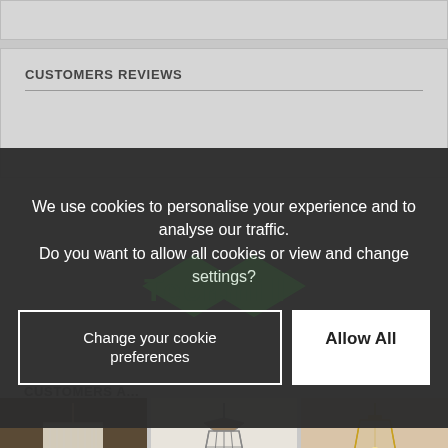CUSTOMERS REVIEWS
We use cookies to personalise your experience and to analyse our traffic. Do you want to allow all cookies or view and change settings?
Change your cookie preferences
Allow All
CUSTOMERS A...
[Figure (photo): Three pendant lamp product photos shown in a row at the bottom: a white drum shade lamp, a geometric cage lantern, and a brass geometric glass pendant lamp.]